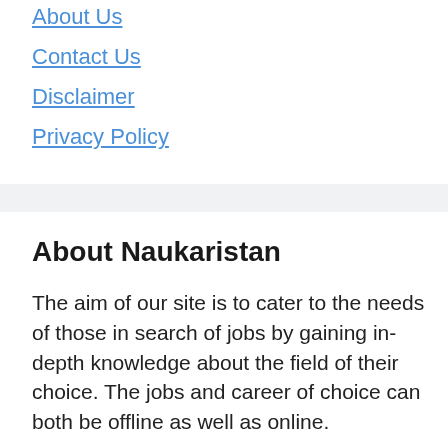About Us
Contact Us
Disclaimer
Privacy Policy
About Naukaristan
The aim of our site is to cater to the needs of those in search of jobs by gaining in-depth knowledge about the field of their choice. The jobs and career of choice can both be offline as well as online.